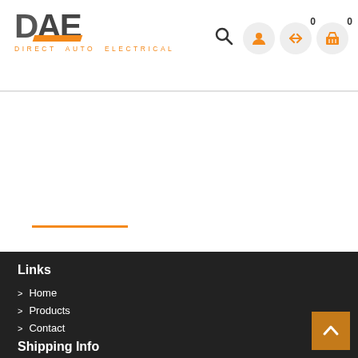[Figure (logo): DAE Direct Auto Electrical logo with orange stripe accent]
[Figure (illustration): Website navigation header with search icon, user/account icon, compare icon with badge 0, and shopping basket icon with badge 0]
[Figure (illustration): Orange horizontal decorative line in white content area]
Links
Home
Products
Contact
Shipping Info